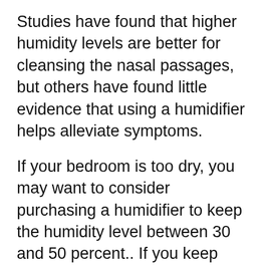Studies have found that higher humidity levels are better for cleansing the nasal passages, but others have found little evidence that using a humidifier helps alleviate symptoms.
If your bedroom is too dry, you may want to consider purchasing a humidifier to keep the humidity level between 30 and 50 percent.. If you keep your home's humidity levels over 40%, you may be able to protect your family members against the influenza virus. For some people, a humid environment can worsen their symptoms, so it's better to stay